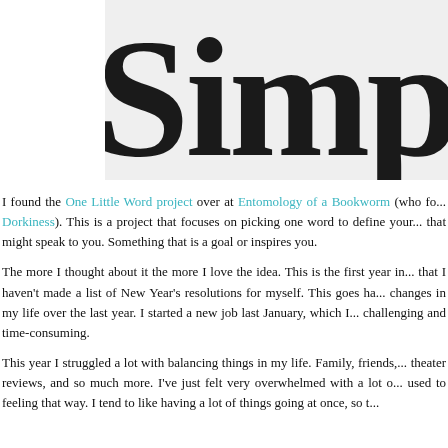[Figure (illustration): Blog header image with decorative serif text reading 'Simplify' (partially cropped) on a light grey background]
I found the One Little Word project over at Entomology of a Bookworm (who fo... Dorkiness). This is a project that focuses on picking one word to define your... that might speak to you. Something that is a goal or inspires you.
The more I thought about it the more I love the idea. This is the first year in... that I haven't made a list of New Year's resolutions for myself. This goes ha... changes in my life over the last year. I started a new job last January, which I... challenging and time-consuming.
This year I struggled a lot with balancing things in my life. Family, friends,... theater reviews, and so much more. I've just felt very overwhelmed with a lot o... used to feeling that way. I tend to like having a lot of things going at once, so t...